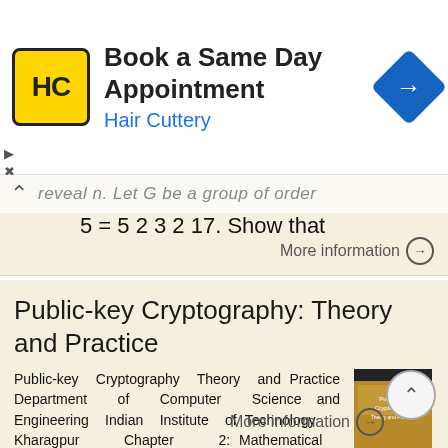[Figure (screenshot): Hair Cuttery advertisement banner with yellow HC logo, 'Book a Same Day Appointment' title, 'Hair Cuttery' subtitle in blue, and blue diamond navigation icon on the right.]
reveal n. Let G be a group of order
5 = 5 2 3 2 17. Show that
More information →
Public-key Cryptography: Theory and Practice
Public-key Cryptography Theory and Practice Department of Computer Science and Engineering Indian Institute of Technology Kharagpur Chapter 2: Mathematical Concepts Divisibility Congruence Quadratic Residues
More information →